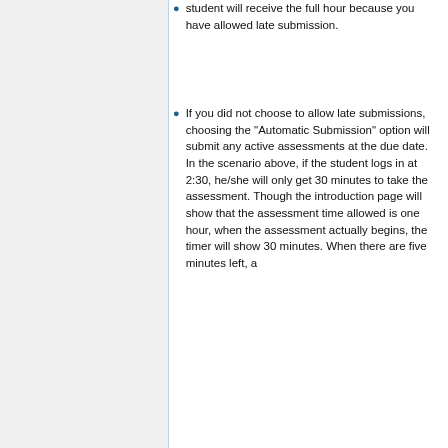student will receive the full hour because you have allowed late submission.
If you did not choose to allow late submissions, choosing the "Automatic Submission" option will submit any active assessments at the due date. In the scenario above, if the student logs in at 2:30, he/she will only get 30 minutes to take the assessment. Though the introduction page will show that the assessment time allowed is one hour, when the assessment actually begins, the timer will show 30 minutes. When there are five minutes left, a